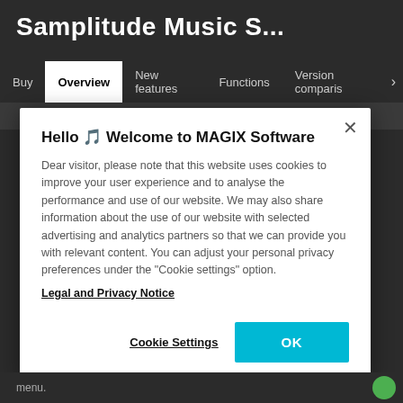Samplitude Music S...
Buy  Overview  New features  Functions  Version comparis >
[Figure (screenshot): Navigation bar with tabs: Buy, Overview (active/selected), New features, Functions, Version comparis, and a right arrow]
Hello 🎵 Welcome to MAGIX Software
Dear visitor, please note that this website uses cookies to improve your user experience and to analyse the performance and use of our website. We may also share information about the use of our website with selected advertising and analytics partners so that we can provide you with relevant content. You can adjust your personal privacy preferences under the "Cookie settings" option.
Legal and Privacy Notice
Cookie Settings
OK
menu.